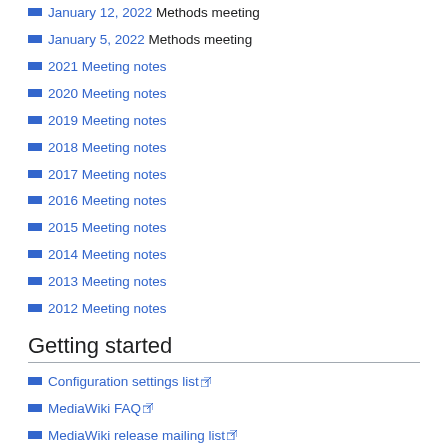January 12, 2022 Methods meeting
January 5, 2022 Methods meeting
2021 Meeting notes
2020 Meeting notes
2019 Meeting notes
2018 Meeting notes
2017 Meeting notes
2016 Meeting notes
2015 Meeting notes
2014 Meeting notes
2013 Meeting notes
2012 Meeting notes
Getting started
Configuration settings list
MediaWiki FAQ
MediaWiki release mailing list
Contact
If you need assistance and/or if you have questions about the project, feel